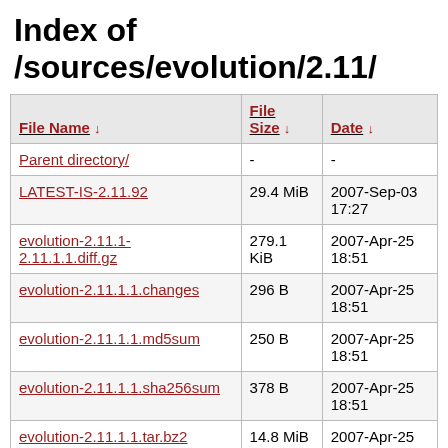Index of /sources/evolution/2.11/
| File Name ↓ | File Size ↓ | Date ↓ |
| --- | --- | --- |
| Parent directory/ | - | - |
| LATEST-IS-2.11.92 | 29.4 MiB | 2007-Sep-03 17:27 |
| evolution-2.11.1-2.11.1.1.diff.gz | 279.1 KiB | 2007-Apr-25 18:51 |
| evolution-2.11.1.1.changes | 296 B | 2007-Apr-25 18:51 |
| evolution-2.11.1.1.md5sum | 250 B | 2007-Apr-25 18:51 |
| evolution-2.11.1.1.sha256sum | 378 B | 2007-Apr-25 18:51 |
| evolution-2.11.1.1.tar.bz2 | 14.8 MiB | 2007-Apr-25 18:51 |
| evolution-2.11.1.1... | 10.8 MiB | 2007-Apr-25 |